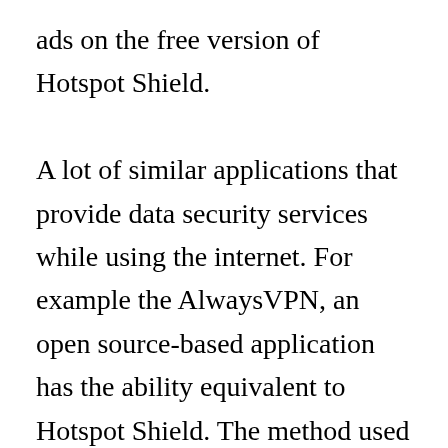ads on the free version of Hotspot Shield.

A lot of similar applications that provide data security services while using the internet. For example the AlwaysVPN, an open source-based application has the ability equivalent to Hotspot Shield. The method used is by building a VPN (Virtual Private Network), so all the transaction data that you do in the virtual world can be encrypted with either. Unfortunately this app is not free. The magnitude of the nominal measured based on